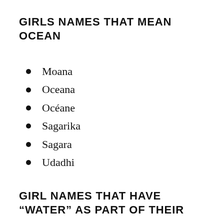GIRLS NAMES THAT MEAN OCEAN
Moana
Oceana
Océane
Sagarika
Sagara
Udadhi
GIRL NAMES THAT HAVE “WATER” AS PART OF THEIR